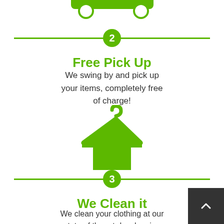[Figure (infographic): Step 2 divider line with green circle containing number 2]
Free Pick Up
We swing by and pick up your items, completely free of charge!
[Figure (illustration): Green clothes hanger icon with garment]
[Figure (infographic): Step 3 divider line with green circle containing number 3]
We Clean it
We clean your clothing at our state of the art dry cleaning